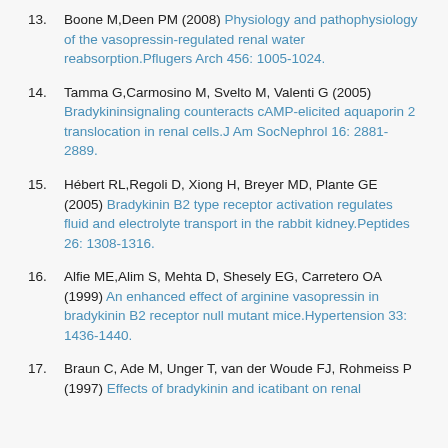13. Boone M,Deen PM (2008) Physiology and pathophysiology of the vasopressin-regulated renal water reabsorption.Pflugers Arch 456: 1005-1024.
14. Tamma G,Carmosino M, Svelto M, Valenti G (2005) Bradykininsignaling counteracts cAMP-elicited aquaporin 2 translocation in renal cells.J Am SocNephrol 16: 2881-2889.
15. Hébert RL,Regoli D, Xiong H, Breyer MD, Plante GE (2005) Bradykinin B2 type receptor activation regulates fluid and electrolyte transport in the rabbit kidney.Peptides 26: 1308-1316.
16. Alfie ME,Alim S, Mehta D, Shesely EG, Carretero OA (1999) An enhanced effect of arginine vasopressin in bradykinin B2 receptor null mutant mice.Hypertension 33: 1436-1440.
17. Braun C, Ade M, Unger T, van der Woude FJ, Rohmeiss P (1997) Effects of bradykinin and icatibant on renal